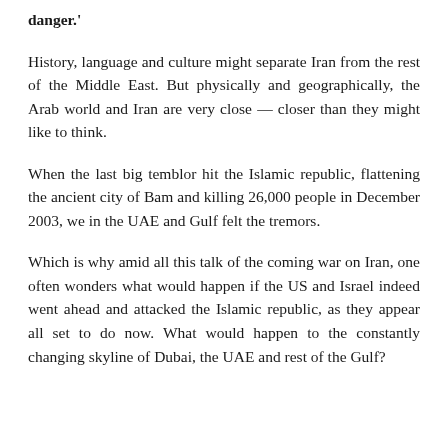danger.'
History, language and culture might separate Iran from the rest of the Middle East. But physically and geographically, the Arab world and Iran are very close — closer than they might like to think.
When the last big temblor hit the Islamic republic, flattening the ancient city of Bam and killing 26,000 people in December 2003, we in the UAE and Gulf felt the tremors.
Which is why amid all this talk of the coming war on Iran, one often wonders what would happen if the US and Israel indeed went ahead and attacked the Islamic republic, as they appear all set to do now. What would happen to the constantly changing skyline of Dubai, the UAE and rest of the Gulf?